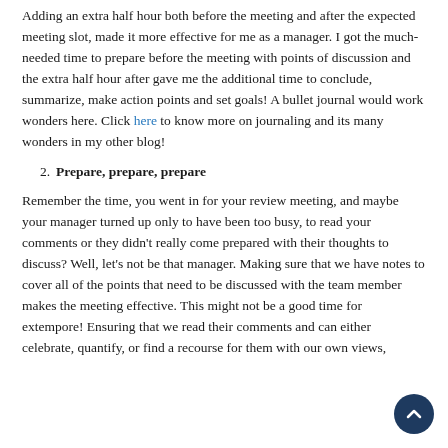Adding an extra half hour both before the meeting and after the expected meeting slot, made it more effective for me as a manager. I got the much-needed time to prepare before the meeting with points of discussion and the extra half hour after gave me the additional time to conclude, summarize, make action points and set goals! A bullet journal would work wonders here. Click here to know more on journaling and its many wonders in my other blog!
2. Prepare, prepare, prepare
Remember the time, you went in for your review meeting, and maybe your manager turned up only to have been too busy, to read your comments or they didn't really come prepared with their thoughts to discuss? Well, let's not be that manager. Making sure that we have notes to cover all of the points that need to be discussed with the team member makes the meeting effective. This might not be a good time for extempore! Ensuring that we read their comments and can either celebrate, quantify, or find a recourse for them with our own views,